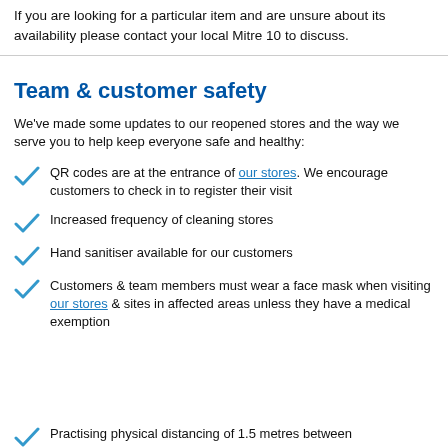If you are looking for a particular item and are unsure about its availability please contact your local Mitre 10 to discuss.
Team & customer safety
We've made some updates to our reopened stores and the way we serve you to help keep everyone safe and healthy:
QR codes are at the entrance of our stores. We encourage customers to check in to register their visit
Increased frequency of cleaning stores
Hand sanitiser available for our customers
Customers & team members must wear a face mask when visiting our stores & sites in affected areas unless they have a medical exemption
Practising physical distancing of 1.5 metres between